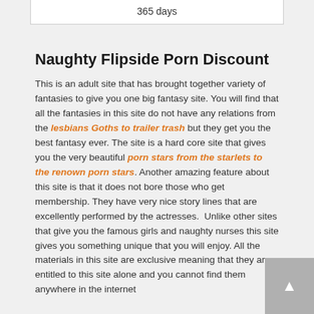| 365 days |
Naughty Flipside Porn Discount
This is an adult site that has brought together variety of fantasies to give you one big fantasy site. You will find that all the fantasies in this site do not have any relations from the lesbians Goths to trailer trash but they get you the best fantasy ever. The site is a hard core site that gives you the very beautiful porn stars from the starlets to the renown porn stars. Another amazing feature about this site is that it does not bore those who get membership. They have very nice story lines that are excellently performed by the actresses.  Unlike other sites that give you the famous girls and naughty nurses this site gives you something unique that you will enjoy. All the materials in this site are exclusive meaning that they are entitled to this site alone and you cannot find them anywhere in the internet